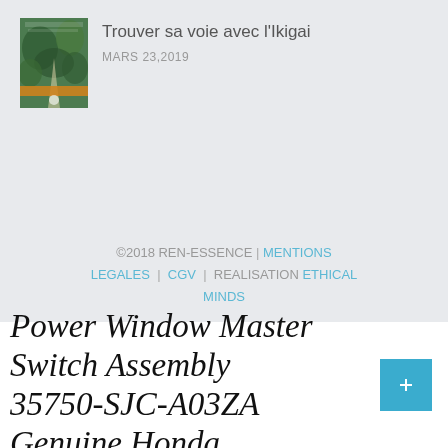[Figure (illustration): Book cover thumbnail for 'Trouver sa voie avec l'Ikigai' showing a green nature scene]
Trouver sa voie avec l'Ikigai
MARS 23,2019
©2018 REN-ESSENCE | MENTIONS LEGALES | CGV | REALISATION ETHICAL MINDS
Power Window Master Switch Assembly 35750-SJC-A03ZA Genuine Honda